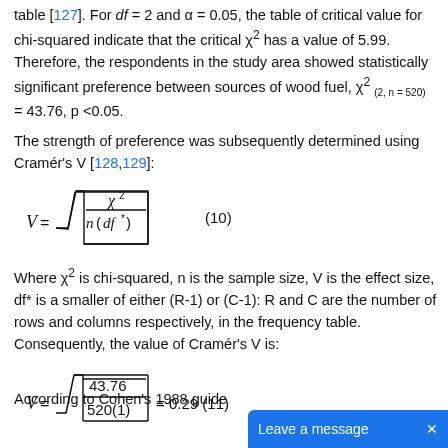table [127]. For df = 2 and α = 0.05, the table of critical value for chi-squared indicate that the critical χ² has a value of 5.99. Therefore, the respondents in the study area showed statistically significant preference between sources of wood fuel, χ²(2, n = 520) = 43.76, p <0.05.
The strength of preference was subsequently determined using Cramér's V [128,129]:
Where χ² is chi-squared, n is the sample size, V is the effect size, df* is a smaller of either (R-1) or (C-1): R and C are the number of rows and columns respectively, in the frequency table. Consequently, the value of Cramér's V is:
According to Cohen's 1988 guide